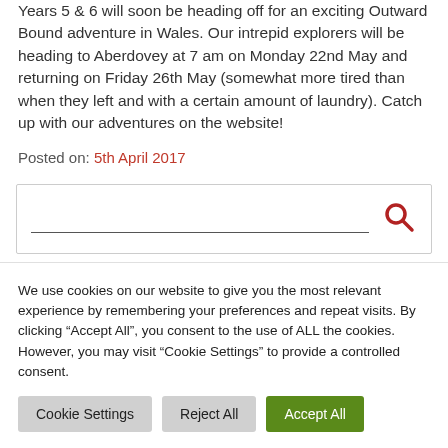Years 5 & 6 will soon be heading off for an exciting Outward Bound adventure in Wales. Our intrepid explorers will be heading to Aberdovey at 7 am on Monday 22nd May and returning on Friday 26th May (somewhat more tired than when they left and with a certain amount of laundry). Catch up with our adventures on the website!
Posted on: 5th April 2017
[Figure (other): Search box with a text input field and a red magnifying glass search icon button]
We use cookies on our website to give you the most relevant experience by remembering your preferences and repeat visits. By clicking "Accept All", you consent to the use of ALL the cookies. However, you may visit "Cookie Settings" to provide a controlled consent.